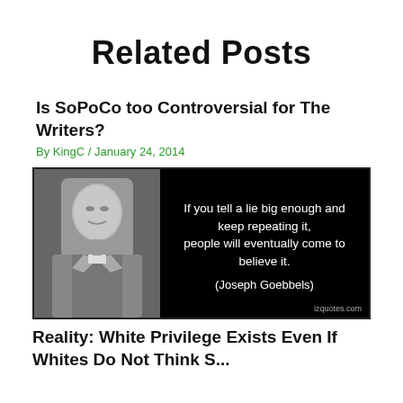Related Posts
Is SoPoCo too Controversial for The Writers?
By KingC / January 24, 2014
[Figure (photo): Black and white photo of Joseph Goebbels on the left side of a dark image card. On the right side, white text reads: 'If you tell a lie big enough and keep repeating it, people will eventually come to believe it. (Joseph Goebbels)' with watermark 'izquotes.com' in lower right.]
Reality: White Privilege Exists Even If Whites Do Not Think S...